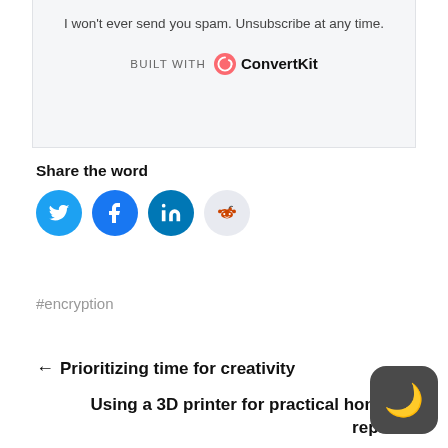I won't ever send you spam. Unsubscribe at any time.
[Figure (logo): BUILT WITH ConvertKit branding logo]
Share the word
[Figure (infographic): Social sharing icons: Twitter (blue), Facebook (blue), LinkedIn (dark blue), Reddit (light grey)]
#encryption
← Prioritizing time for creativity
Using a 3D printer for practical home repa…
[Figure (infographic): Dark mode toggle button with moon icon]